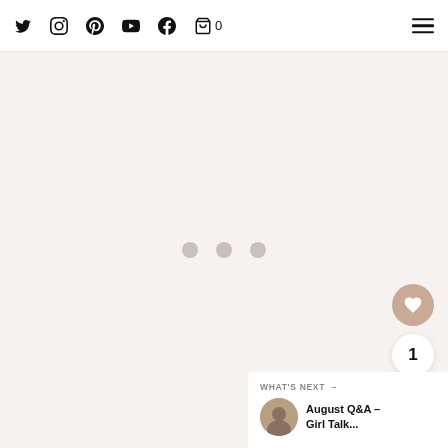Social nav icons: Twitter, Instagram, Pinterest, YouTube, Facebook, Cart (0); Hamburger menu
[Figure (other): Large loading area with light beige/grey background showing three circular loading dots in the center]
[Figure (infographic): Floating action buttons on right side: heart/like button (salmon/tan color), count badge showing '1', share button]
1
WHAT'S NEXT → August Q&A – Girl Talk...